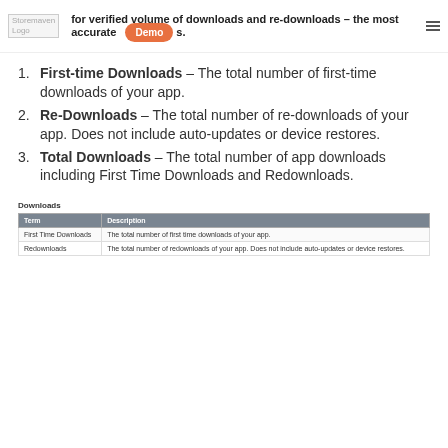for verified volume of downloads and re-downloads – the most accurate [Demo] s.
First-time Downloads – The total number of first-time downloads of your app.
Re-Downloads – The total number of re-downloads of your app. Does not include auto-updates or device restores.
Total Downloads – The total number of app downloads including First Time Downloads and Redownloads.
Downloads
| Term | Description |
| --- | --- |
| First Time Downloads | The total number of first time downloads of your app. |
| Redownloads | The total number of redownloads of your app. Does not include auto-updates or device restores. |